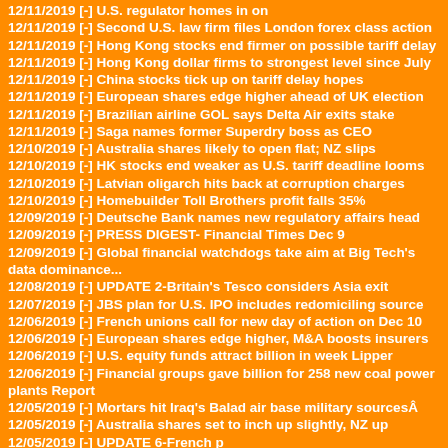12/11/2019 [-] U.S. regulator homes in on
12/11/2019 [-] Second U.S. law firm files London forex class action
12/11/2019 [-] Hong Kong stocks end firmer on possible tariff delay
12/11/2019 [-] Hong Kong dollar firms to strongest level since July
12/11/2019 [-] China stocks tick up on tariff delay hopes
12/11/2019 [-] European shares edge higher ahead of UK election
12/11/2019 [-] Brazilian airline GOL says Delta Air exits stake
12/11/2019 [-] Saga names former Superdry boss as CEO
12/10/2019 [-] Australia shares likely to open flat; NZ slips
12/10/2019 [-] HK stocks end weaker as U.S. tariff deadline looms
12/10/2019 [-] Latvian oligarch hits back at corruption charges
12/10/2019 [-] Homebuilder Toll Brothers profit falls 35%
12/09/2019 [-] Deutsche Bank names new regulatory affairs head
12/09/2019 [-] PRESS DIGEST- Financial Times Dec 9
12/09/2019 [-] Global financial watchdogs take aim at Big Tech's data dominance...
12/08/2019 [-] UPDATE 2-Britain's Tesco considers Asia exit
12/07/2019 [-] JBS plan for U.S. IPO includes redomiciling source
12/06/2019 [-] French unions call for new day of action on Dec 10
12/06/2019 [-] European shares edge higher, M&A boosts insurers
12/06/2019 [-] U.S. equity funds attract billion in week Lipper
12/06/2019 [-] Financial groups gave billion for 258 new coal power plants Report
12/05/2019 [-] Mortars hit Iraq's Balad air base military sourcesÂ
12/05/2019 [-] Australia shares set to inch up slightly, NZ up
12/05/2019 [-] UPDATE 6-French p
12/05/2019 [-] EU reaches de
12/05/2019 [-] CIBC reports 4% fall in quarterly profit
12/05/2019 [-] Britain's FTSE lags Europe as dollar earners dip
12/05/2019 [-] UPDATE 2-U